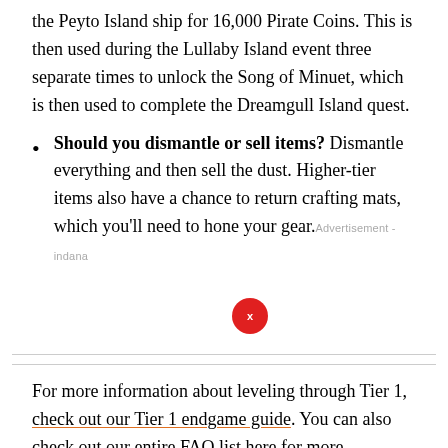the Peyto Island ship for 16,000 Pirate Coins. This is then used during the Lullaby Island event three separate times to unlock the Song of Minuet, which is then used to complete the Dreamgull Island quest.
Should you dismantle or sell items? Dismantle everything and then sell the dust. Higher-tier items also have a chance to return crafting mats, which you'll need to hone your gear.
For more information about leveling through Tier 1, check out our Tier 1 endgame guide. You can also check out our entire FAQ list here for more information and simple answers.